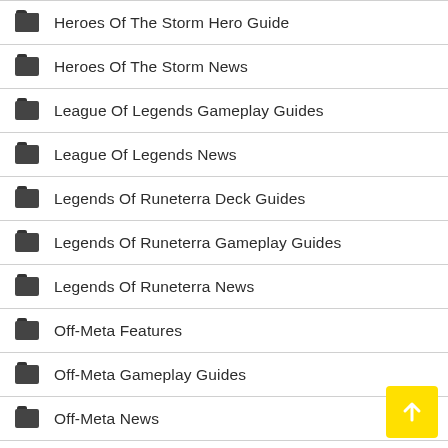Heroes Of The Storm Hero Guide
Heroes Of The Storm News
League Of Legends Gameplay Guides
League Of Legends News
Legends Of Runeterra Deck Guides
Legends Of Runeterra Gameplay Guides
Legends Of Runeterra News
Off-Meta Features
Off-Meta Gameplay Guides
Off-Meta News
Overwatch Features
Overwatch Gameplay Guides
Overwatch News